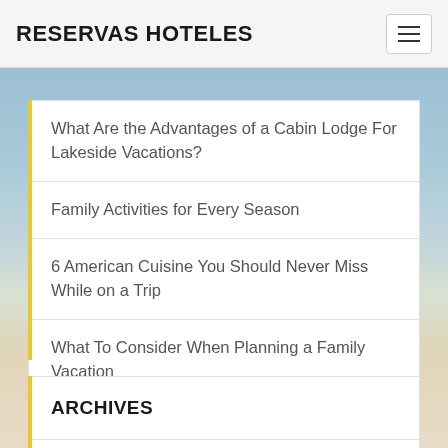RESERVAS HOTELES
What Are the Advantages of a Cabin Lodge For Lakeside Vacations?
Family Activities for Every Season
6 American Cuisine You Should Never Miss While on a Trip
What To Consider When Planning a Family Vacation
Mammoth Cabin Or Apartment?
ARCHIVES